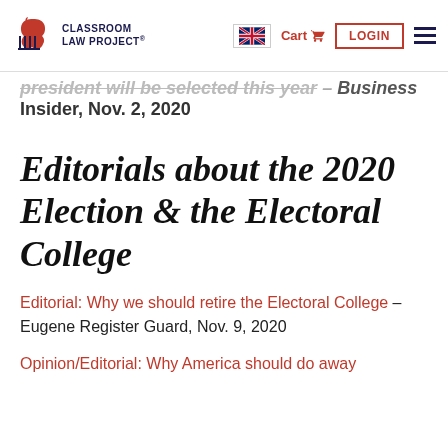Classroom Law Project — Navigation bar with logo, flag, Cart, LOGIN, menu
president will be selected this year – Business Insider, Nov. 2, 2020
Editorials about the 2020 Election & the Electoral College
Editorial: Why we should retire the Electoral College – Eugene Register Guard, Nov. 9, 2020
Opinion/Editorial: Why America should do away with the Electoral College – The Wall St...